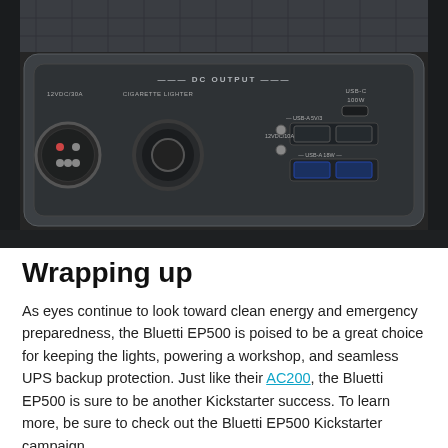[Figure (photo): Close-up photo of the DC output panel on the Bluetti EP500 power station, showing a 12VDC/30A circular connector port, a cigarette lighter socket, 12VDC/10A terminals, USB-C 100W port, USB-A 5V/3A ports, and USB-A 18W ports, all labeled on a dark gray panel with 'DC OUTPUT' header text.]
Wrapping up
As eyes continue to look toward clean energy and emergency preparedness, the Bluetti EP500 is poised to be a great choice for keeping the lights, powering a workshop, and seamless UPS backup protection. Just like their AC200, the Bluetti EP500 is sure to be another Kickstarter success. To learn more, be sure to check out the Bluetti EP500 Kickstarter campaign